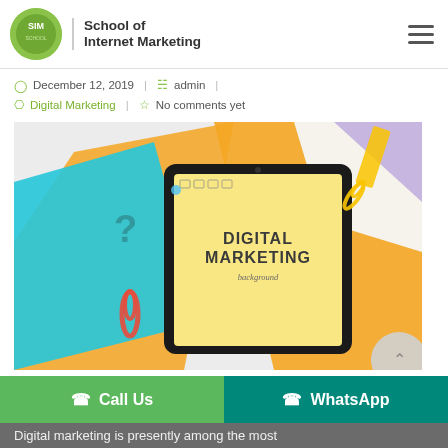School of Internet Marketing
December 12, 2019 | admin | Digital Marketing | No comments yet
[Figure (photo): A tablet device displaying 'DIGITAL MARKETING background' surrounded by colorful paper sheets and paper clips on a light background.]
Call Us   WhatsApp
Digital marketing is presently among the most